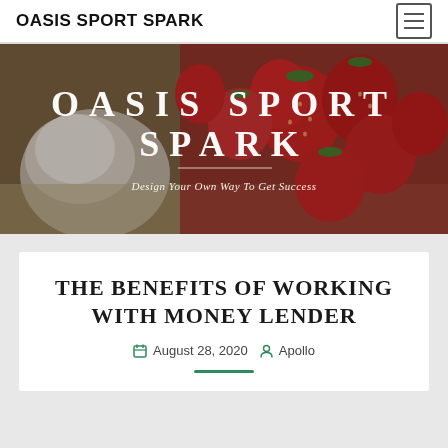OASIS SPORT SPARK
[Figure (photo): Hero banner with strawberries and a white cup in the background, overlaid with white text 'OASIS SPORT SPARK' and subtitle 'Design Your Own Way To Get Success']
THE BENEFITS OF WORKING WITH MONEY LENDER
August 28, 2020  Apollo